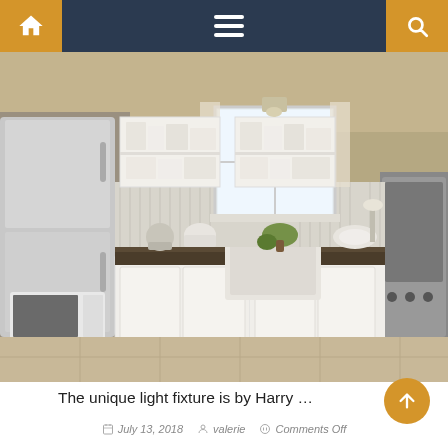Navigation bar with home, menu, and search icons
[Figure (photo): Interior photo of a farmhouse-style kitchen with white cabinets, open shelving, a farmhouse apron sink, dark countertops, beadboard backsplash, tile floor, stainless steel refrigerator, and a window above the sink with a unique light fixture.]
The unique light fixture is by Harry …
July 13, 2018  valerie  Comments Off